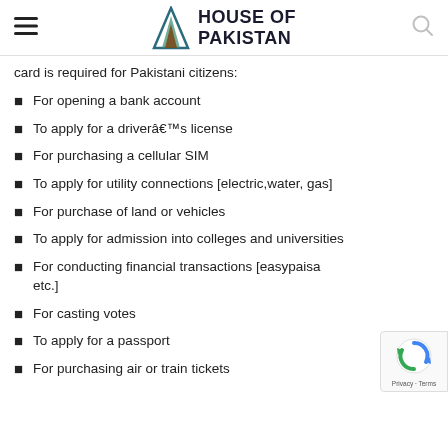HOUSE OF PAKISTAN
card is required for Pakistani citizens:
For opening a bank account
To apply for a driverâ€™s license
For purchasing a cellular SIM
To apply for utility connections [electric,water, gas]
For purchase of land or vehicles
To apply for admission into colleges and universities
For conducting financial transactions [easypaisa etc.]
For casting votes
To apply for a passport
For purchasing air or train tickets